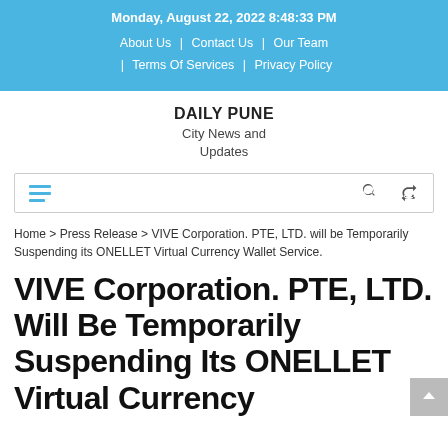Monday, August 22, 2022 8:48:33 PM
About Us | Contact Us | Our Team | Terms Of Services | Privacy Policy
DAILY PUNE
City News and Updates
Home > Press Release > VIVE Corporation. PTE, LTD. will be Temporarily Suspending its ONELLET Virtual Currency Wallet Service.
VIVE Corporation. PTE, LTD. Will Be Temporarily Suspending Its ONELLET Virtual Currency